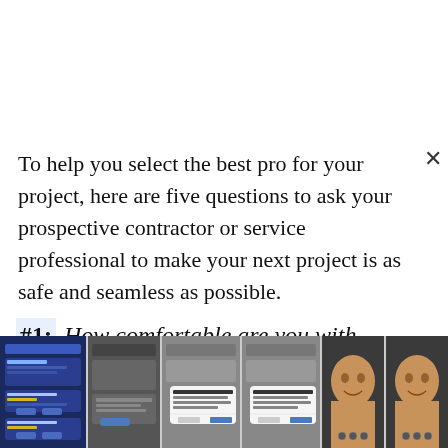To help you select the best pro for your project, here are five questions to ask your prospective contractor or service professional to make your next project is as safe and seamless as possible.
#1: How comfortable are you with technology, including virtual communication?
[Figure (screenshot): A horizontal strip of mobile app screenshots showing a handyman hiring app interface and video call screens with a man smiling.]